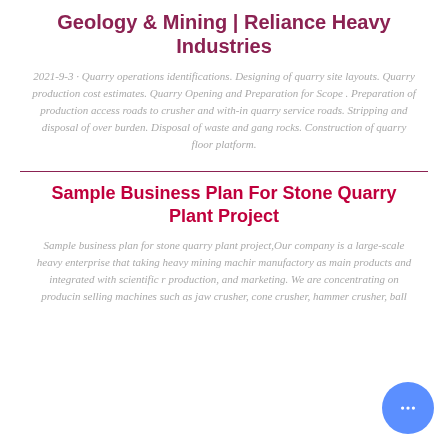Geology & Mining | Reliance Heavy Industries
2021-9-3 · Quarry operations identifications. Designing of quarry site layouts. Quarry production cost estimates. Quarry Opening and Preparation for Scope . Preparation of production access roads to crusher and with-in quarry service roads. Stripping and disposal of over burden. Disposal of waste and gang rocks. Construction of quarry floor platform.
Sample Business Plan For Stone Quarry Plant Project
Sample business plan for stone quarry plant project,Our company is a large-scale heavy enterprise that taking heavy mining machinery manufactory as main products and integrated with scientific research, production, and marketing. We are concentrating on producing and selling machines such as jaw crusher, cone crusher, hammer crusher, ball